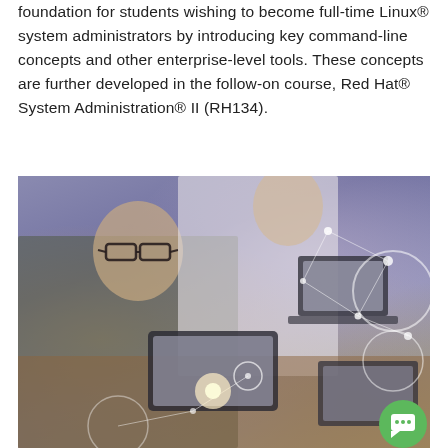foundation for students wishing to become full-time Linux® system administrators by introducing key command-line concepts and other enterprise-level tools. These concepts are further developed in the follow-on course, Red Hat® System Administration® II (RH134).
[Figure (photo): Two men working together at a desk with laptops and a tablet, with a digital network/connection overlay graphic on top of the photo. A green chat button is visible in the bottom-right corner.]